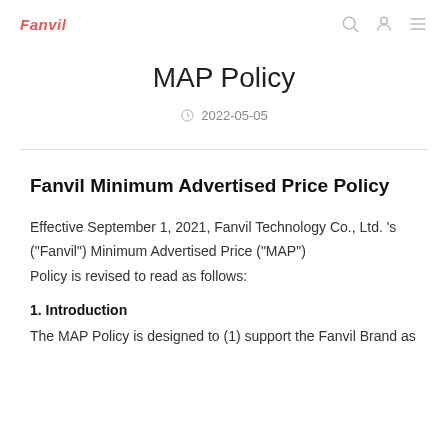Fanvil
MAP Policy
2022-05-05
Fanvil Minimum Advertised Price Policy
Effective September 1, 2021, Fanvil Technology Co., Ltd. 's ("Fanvil") Minimum Advertised Price ("MAP") Policy is revised to read as follows:
1. Introduction
The MAP Policy is designed to (1) support the Fanvil Brand as